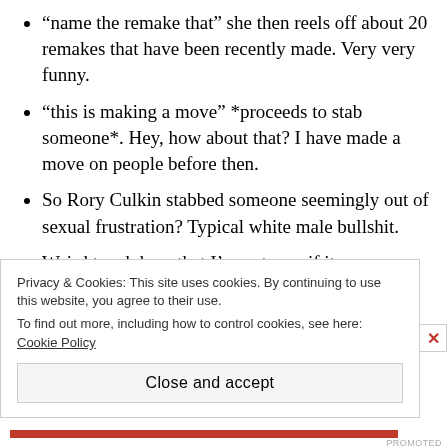“name the remake that” she then reels off about 20 remakes that have been recently made. Very very funny.
“this is making a move” *proceeds to stab someone*. Hey, how about that? I have made a move on people before then.
So Rory Culkin stabbed someone seemingly out of sexual frustration? Typical white male bullshit.
Weird touch here that I’m not sure if it was intentional but both killers are played by people from acting families; Rory Culkin and Emma Roberts.
Privacy & Cookies: This site uses cookies. By continuing to use this website, you agree to their use.
To find out more, including how to control cookies, see here: Cookie Policy
Close and accept